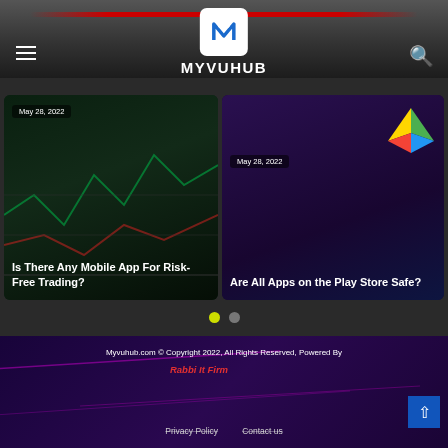MYVUHUB
[Figure (screenshot): Card: May 28, 2022 — Is There Any Mobile App For Risk-Free Trading?]
[Figure (screenshot): Card: May 28, 2022 — Are All Apps on the Play Store Safe?]
Myvuhub.com © Copyright 2022, All Rights Reserved, Powered By Rabbi It Firm | Privacy Policy | Contact us